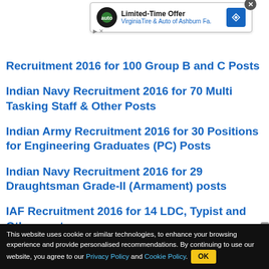[Figure (screenshot): Ad banner overlay: Limited-Time Offer — VirginiaTire & Auto of Ashburn Fa.]
Recruitment 2016 for 100 Group B and C Posts
Indian Navy Recruitment 2016 for 70 Multi Tasking Staff & Other Posts
Indian Army Recruitment 2016 for 30 Positions for Engineering Graduates (PC) Posts
Indian Navy Recruitment 2016 for 29 Draughtsman Grade-II (Armament) posts
IAF Recruitment 2016 for 14 LDC, Typist and Other posts
This website uses cookie or similar technologies, to enhance your browsing experience and provide personalised recommendations. By continuing to use our website, you agree to our Privacy Policy and Cookie Policy. OK